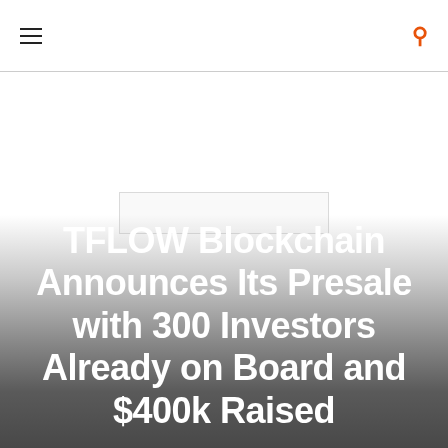≡ 🔍
[Figure (illustration): Hero background image fading from white to dark gray, with a faint rectangular logo/image element in the upper-middle area of the hero section]
TFLOW Blockchain Announces Its Presale with 300 Investors Already on Board and $400k Raised